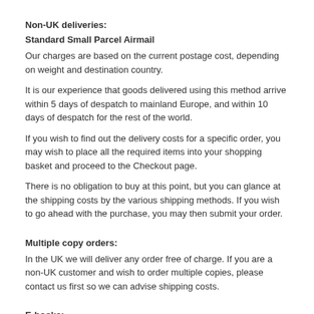Non-UK deliveries:
Standard Small Parcel Airmail
Our charges are based on the current postage cost, depending on weight and destination country.
It is our experience that goods delivered using this method arrive within 5 days of despatch to mainland Europe, and within 10 days of despatch for the rest of the world.
If you wish to find out the delivery costs for a specific order, you may wish to place all the required items into your shopping basket and proceed to the Checkout page.
There is no obligation to buy at this point, but you can glance at the shipping costs by the various shipping methods. If you wish to go ahead with the purchase, you may then submit your order.
Multiple copy orders:
In the UK we will deliver any order free of charge. If you are a non-UK customer and wish to order multiple copies, please contact us first so we can advise shipping costs.
E-books:
E-books are made available for downloading by the customer one time only within a seven-day period from receipt and payment of order.